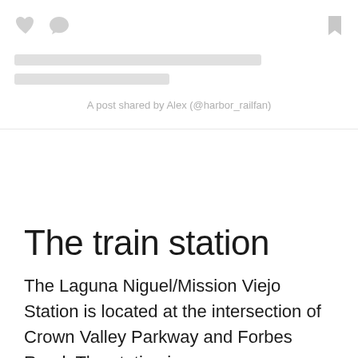[Figure (screenshot): Social media post card placeholder with heart icon, comment bubble icon, bookmark icon, skeleton loading lines, and attribution text 'A post shared by Alex (@harbor_railfan)']
The train station
The Laguna Niguel/Mission Viejo Station is located at the intersection of Crown Valley Parkway and Forbes Road. The station is